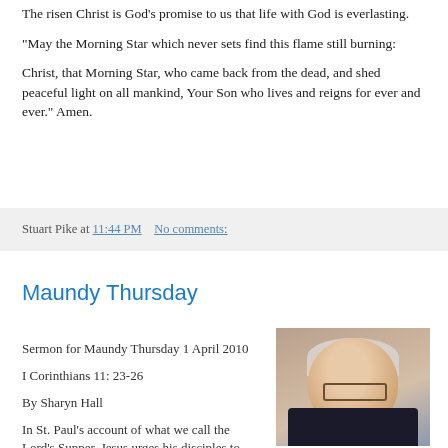The risen Christ is God's promise to us that life with God is everlasting.
“May the Morning Star which never sets find this flame still burning:
Christ, that Morning Star, who came back from the dead, and shed peaceful light on all mankind, Your Son who lives and reigns for ever and ever.” Amen.
Stuart Pike at 11:44 PM   No comments:
Maundy Thursday
Sermon for Maundy Thursday 1 April 2010
I Corinthians 11: 23-26
By Sharyn Hall
In St. Paul’s account of what we call the Lord’s Supper, Jesus urges his disciples to
[Figure (photo): Portrait photo of a woman with short gray hair, glasses, and a dark jacket, seated in front of bookshelves]